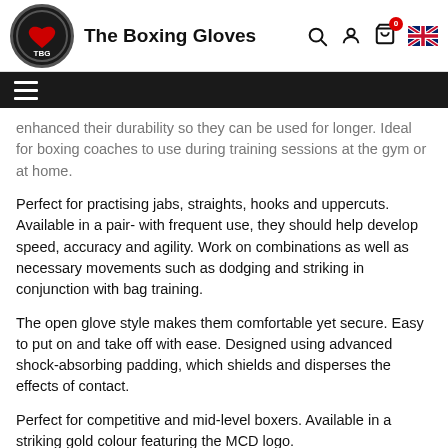The Boxing Gloves
enhanced their durability so they can be used for longer. Ideal for boxing coaches to use during training sessions at the gym or at home.
Perfect for practising jabs, straights, hooks and uppercuts. Available in a pair- with frequent use, they should help develop speed, accuracy and agility. Work on combinations as well as necessary movements such as dodging and striking in conjunction with bag training.
The open glove style makes them comfortable yet secure. Easy to put on and take off with ease. Designed using advanced shock-absorbing padding, which shields and disperses the effects of contact.
Perfect for competitive and mid-level boxers. Available in a striking gold colour featuring the MCD logo.